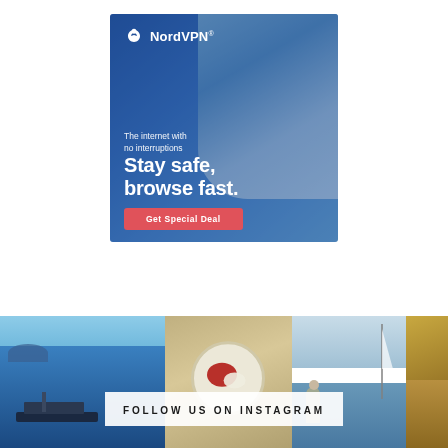[Figure (illustration): NordVPN advertisement banner. Blue-tinted background with woman using smartphone. White NordVPN logo top-left. Text reads: 'The internet with no interruptions', 'Stay safe, browse fast.' with a red 'Get Special Deal' button.]
[Figure (photo): Instagram follow strip with four photos: yacht on ocean, food plate, person on sailboat, partial tropical foliage. Overlaid text: 'FOLLOW US ON INSTAGRAM'.]